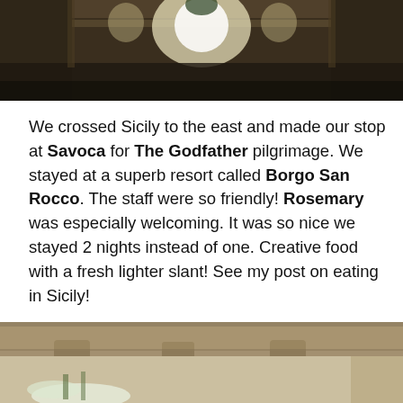[Figure (photo): Interior of an ornate church or cathedral with columns and bright windows, viewed from below]
We crossed Sicily to the east and made our stop at Savoca for The Godfather pilgrimage. We stayed at a superb resort called Borgo San Rocco. The staff were so friendly! Rosemary was especially welcoming. It was so nice we stayed 2 nights instead of one. Creative food with a fresh lighter slant! See my post on eating in Sicily!
[Figure (photo): Stone architectural detail of a building exterior with carved corbels and an arched window, with white flowers in the foreground]